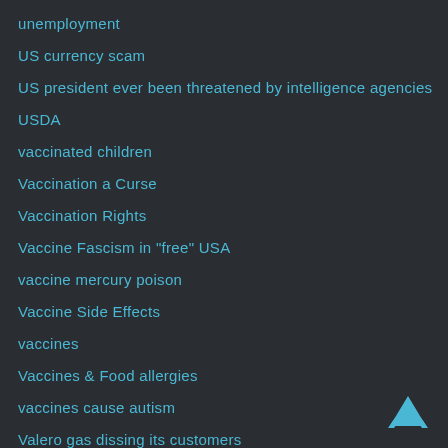unemployment
US currency scam
US president ever been threatened by intelligence agencies
USDA
vaccinated children
Vaccination a Curse
Vaccination Rights
Vaccine Fascism in "free" USA
vaccine mercury poison
Vaccine Side Effects
vaccines
Vaccines & Food allergies
vaccines cause autism
Valero gas dissing its customers
Valero in Ojai ca